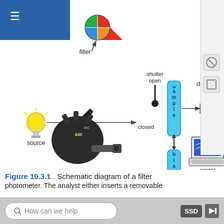[Figure (schematic): Schematic diagram of a filter photometer showing: light source (yellow bulb) -> filter (color wheel with red/orange/blue/green quadrants) with arrow and filter label -> shutter (open/closed positions labeled) -> sample cuvette (vertical blue tube labeled 's a m p l e') -> detector (eye/prism icon) labeled 'detector'. Below sample: blank cuvette (vertical blue tube labeled 'b l a n k') with double-headed arrow connecting to sample. Detector connects down to signal processor (laptop icon). Also shown: photo of actual filter wheel component labeled 480 and 440.]
Figure 10.3.1 . Schematic diagram of a filter photometer. The analyst either inserts a removable
How can we help